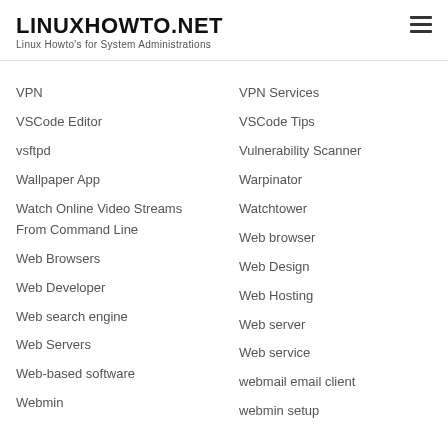LINUXHOWTO.NET
Linux Howto's for System Administrations
VPN
VPN Services
VSCode Editor
VSCode Tips
vsftpd
Vulnerability Scanner
Wallpaper App
Warpinator
Watch Online Video Streams From Command Line
Watchtower
Web browser
Web Browsers
Web Design
Web Developer
Web Hosting
Web search engine
Web server
Web Servers
Web service
Web-based software
webmail email client
Webmin
webmin setup